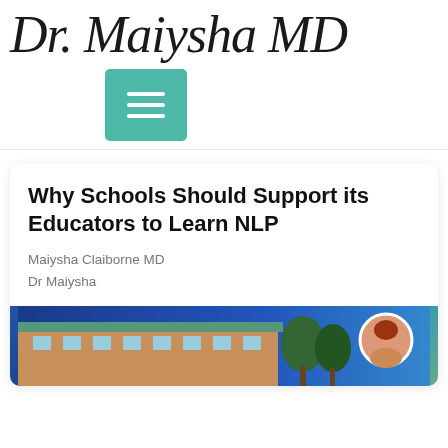Dr. Maiysha MD
[Figure (screenshot): Hamburger/menu icon button with teal background and three white horizontal lines]
Why Schools Should Support its Educators to Learn NLP
Maiysha Claiborne MD
Dr Maiysha
[Figure (photo): Partial photo showing a school building exterior with brick and green roof details against a blue/teal background, with a person visible on the right side]